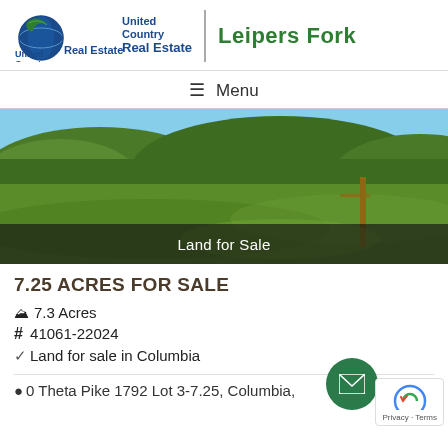[Figure (logo): United Country Real Estate logo with globe icon and 'Leipers Fork' brand name]
≡ Menu
[Figure (photo): Aerial/ground-level photo of green farmland with rolling wooded hills in background, wooden fence post visible on right side. Overlay text: Land for Sale]
7.25 ACRES FOR SALE
7.3 Acres
# 41061-22024
Land for sale in Columbia
0 Theta Pike 1792 Lot 3-7.25, Columbia,